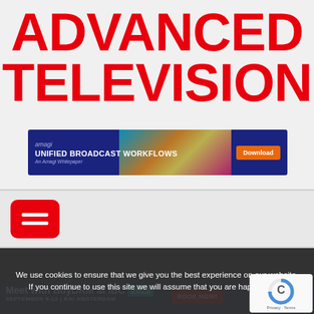ADVANCED TELEVISION
[Figure (infographic): Amagi banner advertisement: dark blue background with text 'amagi UNIFIED BROADCAST WORKFLOWS An Amagi Whitepaper' on the left, colorful light streaks in the middle, and an orange 'Download' button on the right]
[Figure (infographic): Red rounded rectangle hamburger menu button with two white horizontal lines]
[Figure (logo): net insight logo in gray text on dark background]
We use cookies to ensure that we give you the best experience on our website. If you continue to use this site we will assume that you are happy with it.
[Figure (infographic): BuyDRM banner: 'Meet with BuyDRM at IBC 2022 SEPTEMBER 9-12 | RAI AMSTERDAM' with a 'BOOK NOW!' button, set on dark blue background]
[Figure (infographic): reCAPTCHA widget showing a stylized C icon with 'Privacy - Terms' text below]